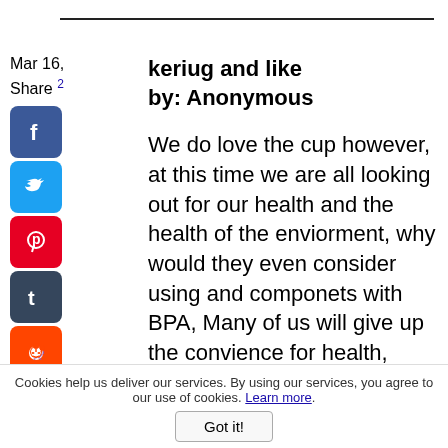Mar 16,
Share 2
keriug and like by: Anonymous
We do love the cup however, at this time we are all looking out for our health and the health of the enviorment, why would they even consider using and componets with BPA, Many of us will give up the convience for health, most people I know are moving away from all reg grown food, coffee ect. The stores
Cookies help us deliver our services. By using our services, you agree to our use of cookies. Learn more.
Got it!